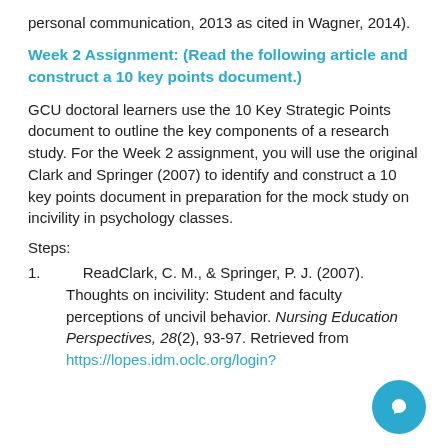personal communication, 2013 as cited in Wagner, 2014).
Week 2 Assignment: (Read the following article and construct a 10 key points document.)
GCU doctoral learners use the 10 Key Strategic Points document to outline the key components of a research study. For the Week 2 assignment, you will use the original Clark and Springer (2007) to identify and construct a 10 key points document in preparation for the mock study on incivility in psychology classes.
Steps:
1.     ReadClark, C. M., & Springer, P. J. (2007). Thoughts on incivility: Student and faculty perceptions of uncivil behavior. Nursing Education Perspectives, 28(2), 93-97. Retrieved from https://lopes.idm.oclc.org/login?